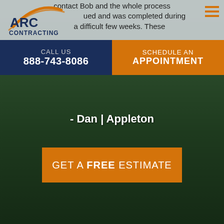[Figure (logo): ARC Contracting logo with orange arc graphic above navy blue text]
contact Bob and the whole process continued and was completed during a difficult few weeks. These ... outstanding.
CALL US
888-743-8086
SCHEDULE AN APPOINTMENT
- Dan | Appleton
GET A FREE ESTIMATE